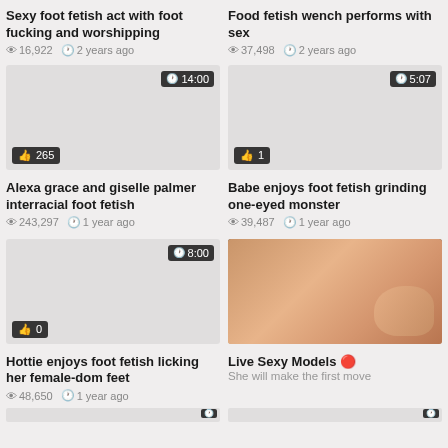Sexy foot fetish act with foot fucking and worshipping — 16,922 views, 2 years ago
Food fetish wench performs with sex — 37,498 views, 2 years ago
[Figure (screenshot): Video thumbnail placeholder, duration 14:00, 265 likes]
[Figure (screenshot): Video thumbnail placeholder, duration 5:07, 1 like]
Alexa grace and giselle palmer interracial foot fetish — 243,297 views, 1 year ago
Babe enjoys foot fetish grinding one-eyed monster — 39,487 views, 1 year ago
[Figure (screenshot): Video thumbnail placeholder, duration 8:00, 0 likes]
[Figure (photo): Advertisement image with Powered By exoClick banner]
Hottie enjoys foot fetish licking her female-dom feet — 48,650 views, 1 year ago
Live Sexy Models — She will make the first move